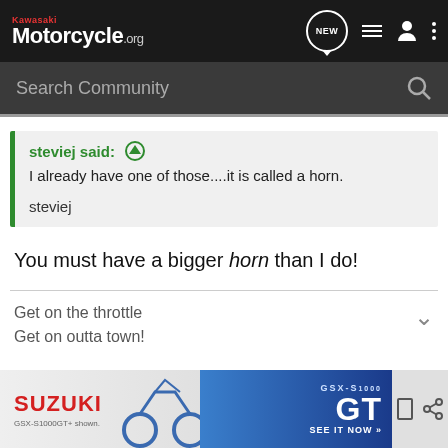Kawasaki Motorcycle.org — Search Community
steviej said: ↑
I already have one of those....it is called a horn.

steviej
You must have a bigger horn than I do!
Get on the throttle
Get on outta town!
[Figure (photo): Suzuki GSX-S1000GT advertisement banner showing motorcycle and 'SEE IT NOW >>' text]